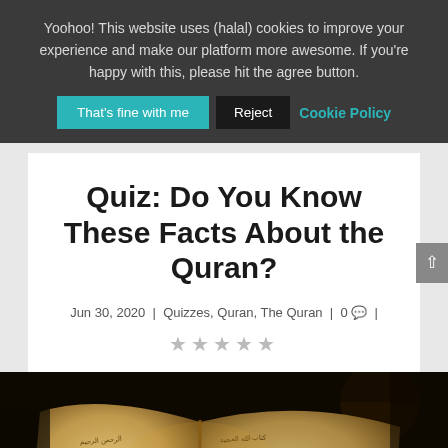Yoohoo! This website uses (halal) cookies to improve your experience and make our platform more awesome. If you're happy with this, please hit the agree button.
That's fine with me | Reject | Cookie Policy
Quiz: Do You Know These Facts About the Quran?
Jun 30, 2020 | Quizzes, Quran, The Quran | 0 💬 |
★★★★★
[Figure (photo): Close-up photo of an open Quran with Arabic text on gilded pages, dark bokeh background]
Share This ∨